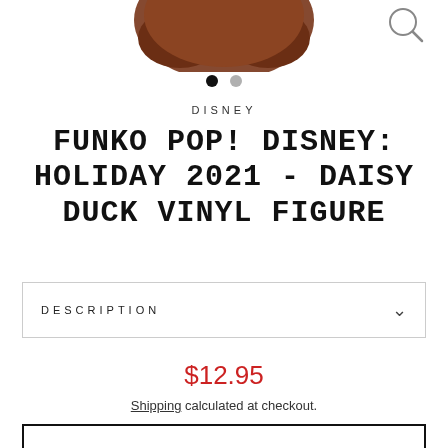[Figure (photo): Cropped top portion of a brown Daisy Duck Funko Pop vinyl figure against white background, with a magnifier/search icon in the top right corner]
● ●
DISNEY
FUNKO POP! DISNEY: HOLIDAY 2021 - DAISY DUCK VINYL FIGURE
DESCRIPTION
$12.95
Shipping calculated at checkout.
ADD TO CART